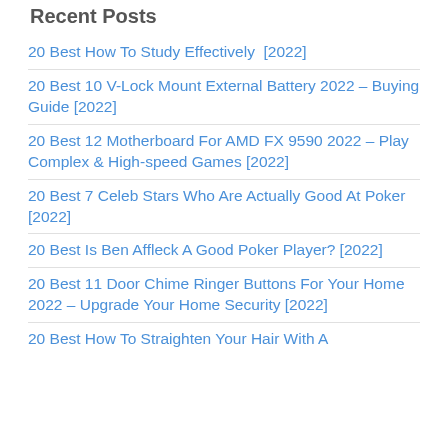Recent Posts
20 Best How To Study Effectively  [2022]
20 Best 10 V-Lock Mount External Battery 2022 – Buying Guide [2022]
20 Best 12 Motherboard For AMD FX 9590 2022 – Play Complex & High-speed Games [2022]
20 Best 7 Celeb Stars Who Are Actually Good At Poker [2022]
20 Best Is Ben Affleck A Good Poker Player? [2022]
20 Best 11 Door Chime Ringer Buttons For Your Home 2022 – Upgrade Your Home Security [2022]
20 Best How To Straighten Your Hair With A